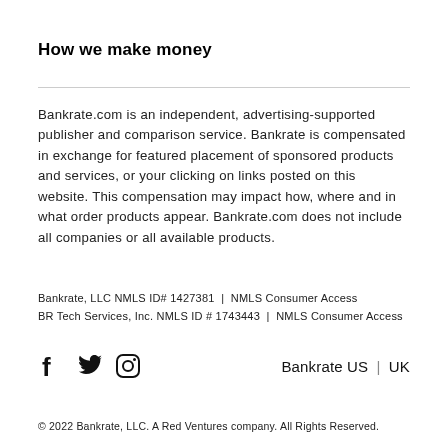How we make money
Bankrate.com is an independent, advertising-supported publisher and comparison service. Bankrate is compensated in exchange for featured placement of sponsored products and services, or your clicking on links posted on this website. This compensation may impact how, where and in what order products appear. Bankrate.com does not include all companies or all available products.
Bankrate, LLC NMLS ID# 1427381 | NMLS Consumer Access
BR Tech Services, Inc. NMLS ID # 1743443 | NMLS Consumer Access
[Figure (logo): Facebook, Twitter, and Instagram social media icons]
Bankrate US | UK
© 2022 Bankrate, LLC. A Red Ventures company. All Rights Reserved.